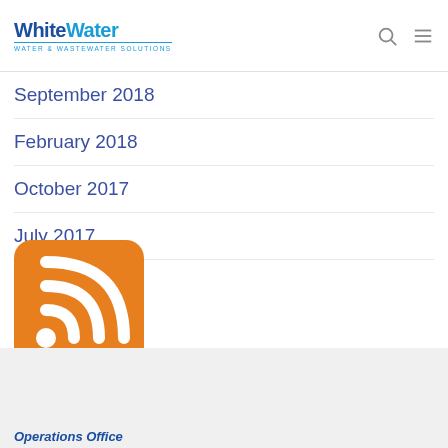WhiteWater Water & Wastewater Solutions
September 2018
February 2018
October 2017
July 2017
[Figure (logo): Orange RSS feed icon with white wifi-style signal arcs]
Operations Office